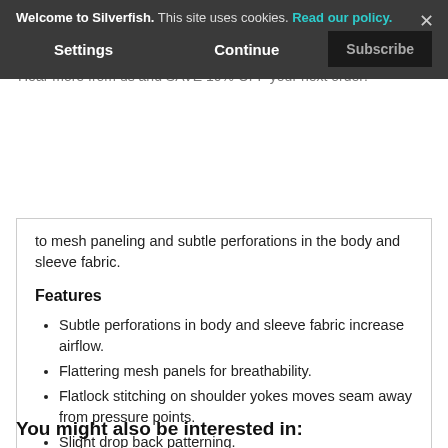Welcome to Silverfish. This site uses cookies. Read our policy. Settings Continue Subscribe
to mesh paneling and subtle perforations in the body and sleeve fabric.
Features
Subtle perforations in body and sleeve fabric increase airflow.
Flattering mesh panels for breathability.
Flatlock stitching on shoulder yokes moves seam away from pressure points.
Slight drop back patterning.
Easy access goggle wipe at bottom hem.
You might also be interested in: